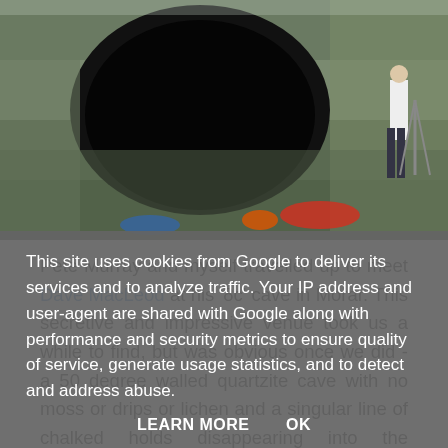[Figure (photo): Photograph of a large cave entrance in rocky cliffs, with equipment and a person visible outside]
Pete Murray and myself travelled up to meet Dave MacLeod at his '8c' cave in Morar. This secretive and impressive venue took us a while to find, but was obvious once we did - a 50 degree walled quartzite cave with no moss or drips or lichen and a singular line of chalked holds disappearing into the triangular darkness - Dave's 8c project. I pulled on a few holds
This site uses cookies from Google to deliver its services and to analyze traffic. Your IP address and user-agent are shared with Google along with performance and security metrics to ensure quality of service, generate usage statistics, and to detect and address abuse.
LEARN MORE    OK